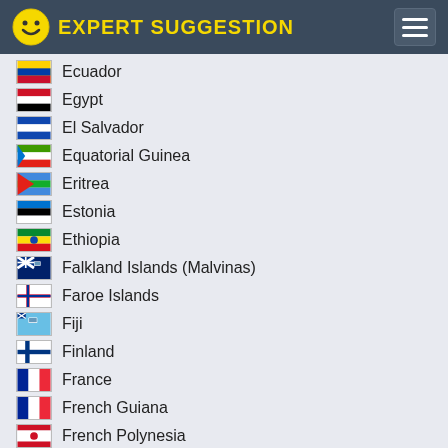EXPERT SUGGESTION
Ecuador
Egypt
El Salvador
Equatorial Guinea
Eritrea
Estonia
Ethiopia
Falkland Islands (Malvinas)
Faroe Islands
Fiji
Finland
France
French Guiana
French Polynesia
French Southern Territories
Gabon
Gambia
Georgia
Germany
Ghana